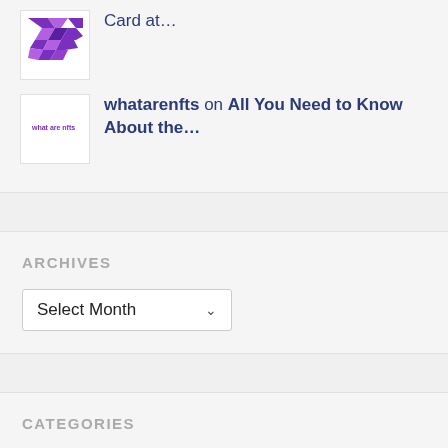[Figure (illustration): Thumbnail image with purple geometric/diamond pattern logo]
Card at…
[Figure (illustration): Thumbnail image with 'what are nfts' text on white background]
whatarenfts on All You Need to Know About the…
ARCHIVES
Select Month
CATEGORIES
Select Category